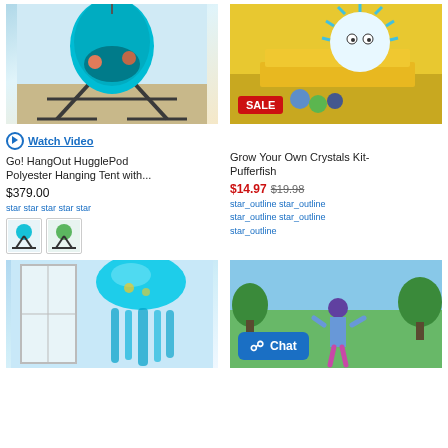[Figure (photo): Two children playing in a teal/blue hanging pod tent with stand on a deck]
[Figure (photo): Blue spiky pufferfish crystal growing toy next to marbles on yellow books, with SALE badge]
Watch Video
Go! HangOut HugglePod Polyester Hanging Tent with...
$379.00
star star star star star
[Figure (photo): Color swatches for blue and green hanging tent]
Grow Your Own Crystals Kit- Pufferfish
$14.97 $19.98
star_outline star_outline star_outline star_outline star_outline
[Figure (photo): Teal jellyfish hanging decoration in a room]
[Figure (photo): Girl in blue outfit on green lawn, with Chat button overlay]